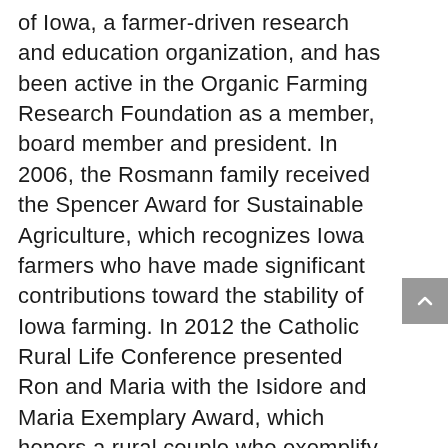of Iowa, a farmer-driven research and education organization, and has been active in the Organic Farming Research Foundation as a member, board member and president. In 2006, the Rosmann family received the Spencer Award for Sustainable Agriculture, which recognizes Iowa farmers who have made significant contributions toward the stability of Iowa farming. In 2012 the Catholic Rural Life Conference presented Ron and Maria with the Isidore and Maria Exemplary Award, which honors a rural couple who exemplify fidelity to a vision and vocation of rural life that combines family, stewardship and faith.